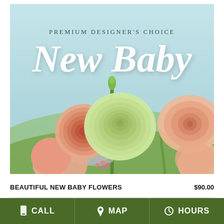[Figure (photo): Product photo of a floral arrangement labeled 'Premium Designer's Choice — New Baby'. Features pink ranunculus, a white/green rose, peach gerbera daisies, and silver foliage on a light blue background. White script text reads 'New Baby' over the flowers, with 'Premium Designer's Choice' in smaller spaced lettering above.]
BEAUTIFUL NEW BABY FLOWERS    $90.00
CALL   MAP   HOURS